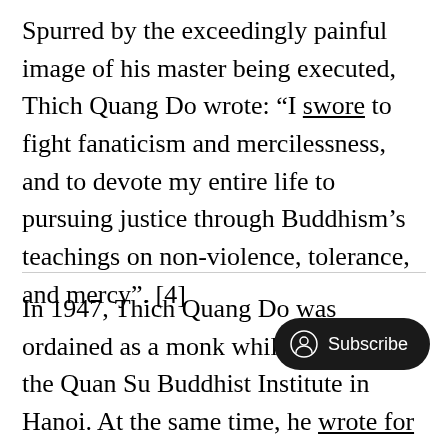Spurred by the exceedingly painful image of his master being executed, Thich Quang Do wrote: “I swore to fight fanaticism and mercilessness, and to devote my entire life to pursuing justice through Buddhism’s teachings on non-violence, tolerance, and mercy”. [4]
In 1947, Thich Quang Do was ordained as a monk while studying at the Quan Su Buddhist Institute in Hanoi. At the same time, he wrote for the magazine Phuong Tien [Means], where Venerable Thich To Lien was